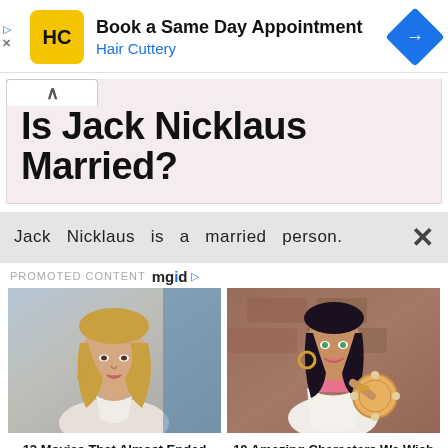[Figure (logo): Hair Cuttery ad banner with HC logo, 'Book a Same Day Appointment' title, 'Hair Cuttery' subtitle, and navigation arrow icon]
Is Jack Nicklaus Married?
Jack Nicklaus is a married person.
PROMOTED CONTENT mgid
[Figure (photo): Photo of Jennifer Lopez, blonde woman in white outfit]
12 Movies That Almost Ended Their Stars' Careers
[Figure (illustration): Animated Disney-style cartoon character, dark-haired woman with tambourine]
10 Amazing Characters We Wish Were Official Disney Princesses